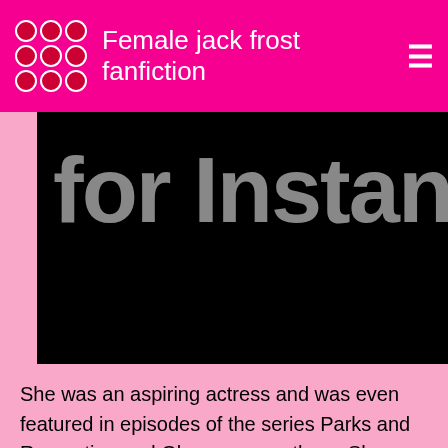Female jack frost fanfiction
[Figure (other): Large black image area with partially visible large gray bold text reading 'for Instant Ac' (truncated)]
She was an aspiring actress and was even featured in episodes of the series Parks and Recreation and Glee, among others. She starred as Sandy in a high school